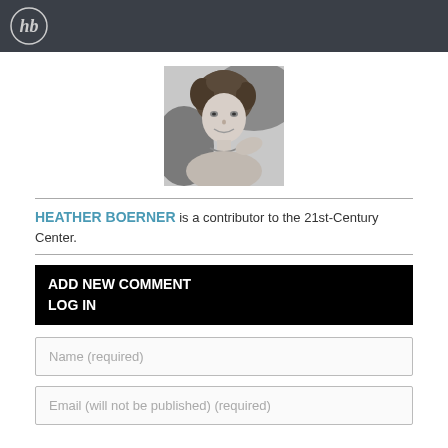hb logo
[Figure (photo): Black and white headshot photo of Heather Boerner, a woman with curly hair and a necklace, smiling outdoors]
HEATHER BOERNER is a contributor to the 21st-Century Center.
ADD NEW COMMENT
LOG IN
Name (required)
Email (will not be published) (required)